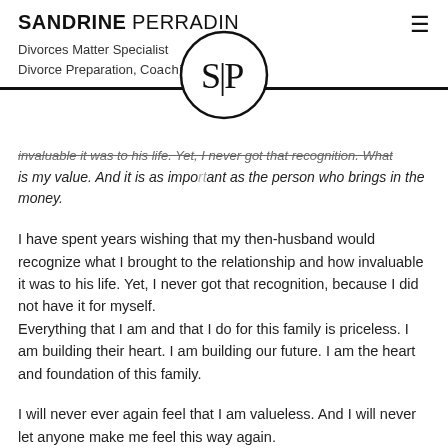SANDRINE PERRADIN
Divorces Matter Specialist
Divorce Preparation, Coaching, New Life
[Figure (logo): Circular logo with letters S|P inside a circle, overlaid on the header divider bar]
...invaluable it was to his life. Yet, I never got that recognition. What is my value. And it is as important as the person who brings in the money.
I have spent years wishing that my then-husband would recognize what I brought to the relationship and how invaluable it was to his life. Yet, I never got that recognition, because I did not have it for myself.
Everything that I am and that I do for this family is priceless. I am building their heart. I am building our future. I am the heart and foundation of this family.
I will never ever again feel that I am valueless. And I will never let anyone make me feel this way again.